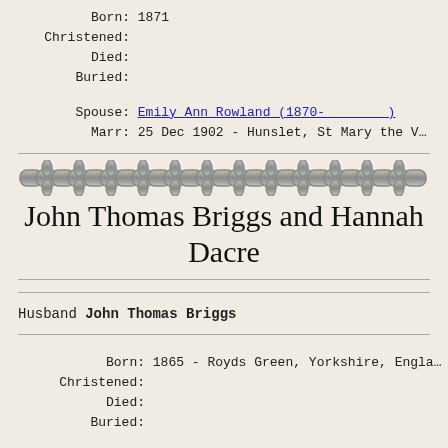Born: 1871
Christened:
Died:
Buried:
Spouse: Emily Ann Rowland (1870-        )
Marr: 25 Dec 1902 - Hunslet, St Mary the V...
John Thomas Briggs and Hannah Dacre
Husband John Thomas Briggs
Born: 1865 - Royds Green, Yorkshire, England
Christened:
Died:
Buried: